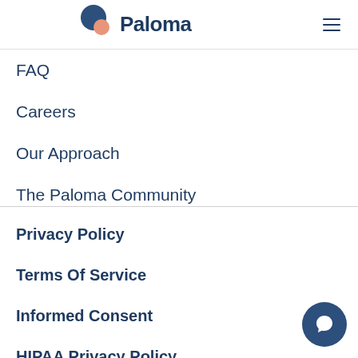Paloma
FAQ
Careers
Our Approach
The Paloma Community
Privacy Policy
Terms Of Service
Informed Consent
HIPAA Privacy Policy